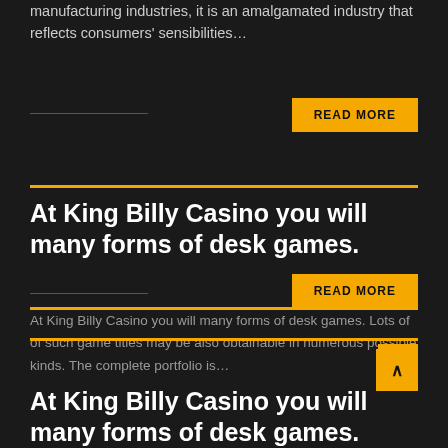manufacturing industries, it is an amalgamated industry that reflects consumers' sensibilities...
READ MORE
At King Billy Casino you will many forms of desk games.
At King Billy Casino you will many forms of desk games. Lots of of such game titles may be also obtainable in numerous possible kinds. The complete portfolio is...
READ MORE
At King Billy Casino you will many forms of desk games.